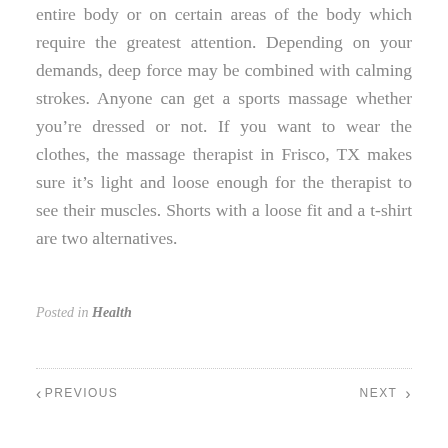entire body or on certain areas of the body which require the greatest attention. Depending on your demands, deep force may be combined with calming strokes. Anyone can get a sports massage whether you’re dressed or not. If you want to wear the clothes, the massage therapist in Frisco, TX makes sure it’s light and loose enough for the therapist to see their muscles. Shorts with a loose fit and a t-shirt are two alternatives.
Posted in Health
PREVIOUS
NEXT